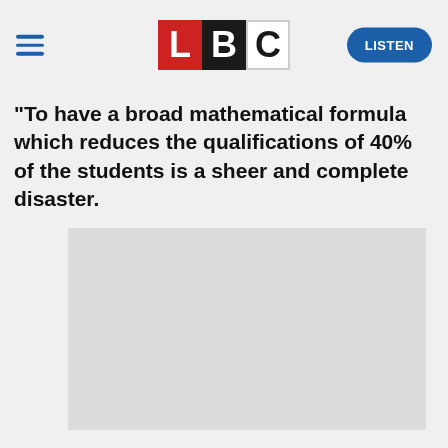LBC — LISTEN
"To have a broad mathematical formula which reduces the qualifications of 40% of the students is a sheer and complete disaster.
[Figure (photo): Placeholder image rectangle (light gray)]